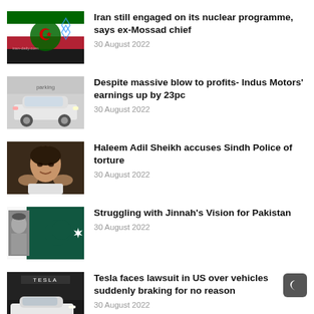[Figure (photo): Iran flag with Star of David overlay]
Iran still engaged on its nuclear programme, says ex-Mossad chief
30 August 2022
[Figure (photo): White car - Indus Motors vehicle]
Despite massive blow to profits- Indus Motors' earnings up by 23pc
30 August 2022
[Figure (photo): Man looking distressed - Haleem Adil Sheikh]
Haleem Adil Sheikh accuses Sindh Police of torture
30 August 2022
[Figure (photo): Jinnah portrait with Pakistan flag]
Struggling with Jinnah's Vision for Pakistan
30 August 2022
[Figure (photo): Tesla car at showroom]
Tesla faces lawsuit in US over vehicles suddenly braking for no reason
30 August 2022